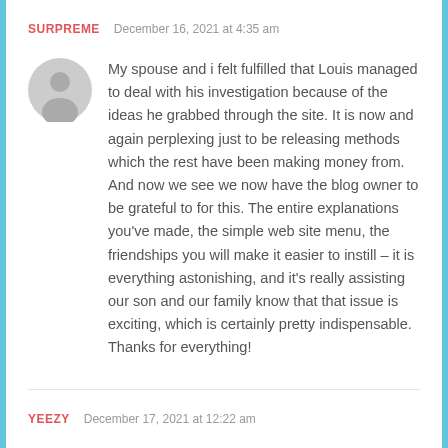SURPREME   December 16, 2021 at 4:35 am
My spouse and i felt fulfilled that Louis managed to deal with his investigation because of the ideas he grabbed through the site. It is now and again perplexing just to be releasing methods which the rest have been making money from. And now we see we now have the blog owner to be grateful to for this. The entire explanations you've made, the simple web site menu, the friendships you will make it easier to instill – it is everything astonishing, and it's really assisting our son and our family know that that issue is exciting, which is certainly pretty indispensable. Thanks for everything!
YEEZY   December 17, 2021 at 12:22 am